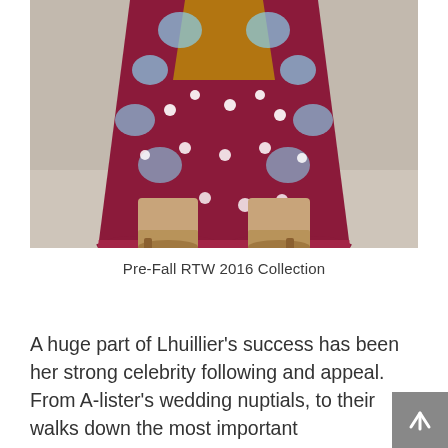[Figure (photo): Lower half of a model wearing a floral patterned midi dress in burgundy/red with light blue and white flowers and tan/camel ankle boots, photographed against a beige/grey background.]
Pre-Fall RTW 2016 Collection
A huge part of Lhuillier's success has been her strong celebrity following and appeal. From A-lister's wedding nuptials, to their walks down the most important